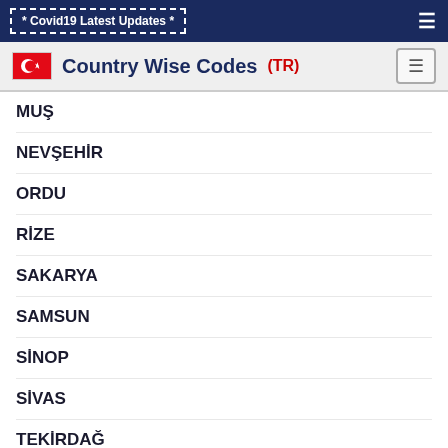* Covid19 Latest Updates *
Country Wise Codes (TR)
MUŞ
NEVŞEHİR
ORDU
RİZE
SAKARYA
SAMSUN
SİNOP
SİVAS
TEKİRDAĞ
TOKAT
TRABZON